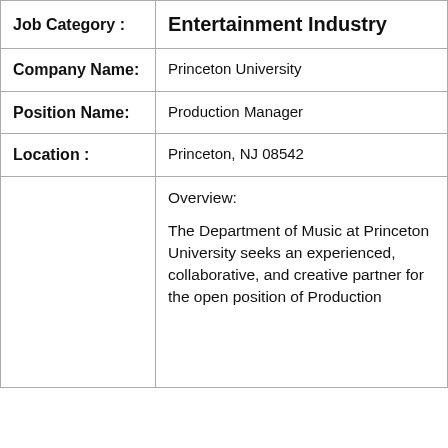| Field | Value |
| --- | --- |
| Job Category : | Entertainment Industry |
| Company Name: | Princeton University |
| Position Name: | Production Manager |
| Location : | Princeton, NJ 08542 |
|  | Overview:

The Department of Music at Princeton University seeks an experienced, collaborative, and creative partner for the open position of Production... |